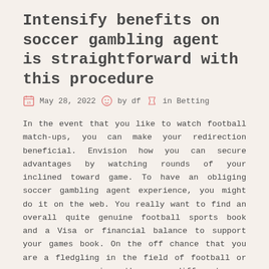Intensify benefits on soccer gambling agent is straightforward with this procedure
May 28, 2022  by df  in Betting
In the event that you like to watch football match-ups, you can make your redirection beneficial. Envision how you can secure advantages by watching rounds of your inclined toward game. To have an obliging soccer gambling agent experience, you might do it on the web. You really want to find an overall quite genuine football sports book and a Visa or financial balance to support your games book. On the off chance that you are a fledgling in the field of football or any games wagering, there are different ways of managing ace the procedures. One